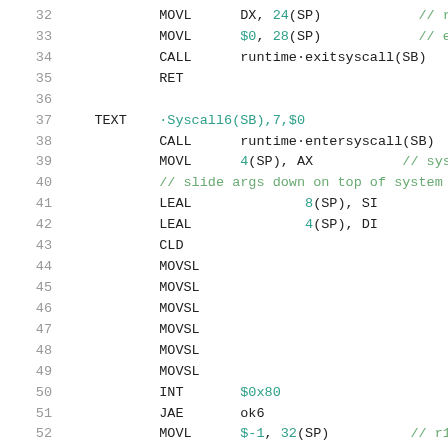32   MOVL    DX, 24(SP)      // r2
33   MOVL    $0, 28(SP)      // errno
34   CALL    runtime·exitsyscall(SB)
35   RET
36
37   TEXT    ·Syscall6(SB),7,$0
38   CALL    runtime·entersyscall(SB)
39   MOVL    4(SP), AX       // syscall entry
40            // slide args down on top of system cal
41   LEAL            8(SP), SI
42   LEAL            4(SP), DI
43   CLD
44   MOVSL
45   MOVSL
46   MOVSL
47   MOVSL
48   MOVSL
49   MOVSL
50   INT     $0x80
51   JAE     ok6
52   MOVL    $-1, 32(SP)     // r1